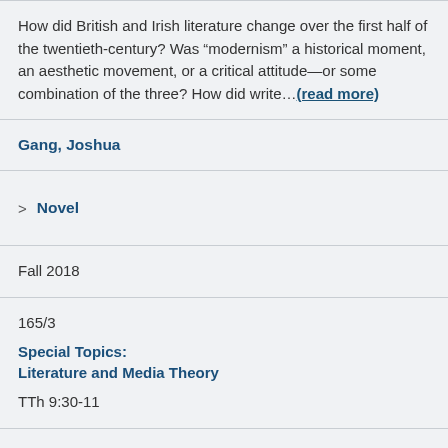How did British and Irish literature change over the first half of the twentieth-century? Was “modernism” a historical moment, an aesthetic movement, or a critical attitude—or some combination of the three? How did write…(read more)
Gang, Joshua
> Novel
Fall 2018
165/3
Special Topics:
Literature and Media Theory
TTh 9:30-11
This course will consider literature in relation to media theory,